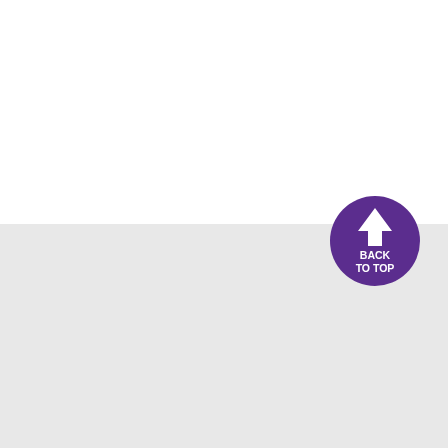[Figure (other): Purple circular 'Back to Top' button with upward arrow icon and text 'BACK TO TOP' in white, positioned at the boundary between white and gray sections]